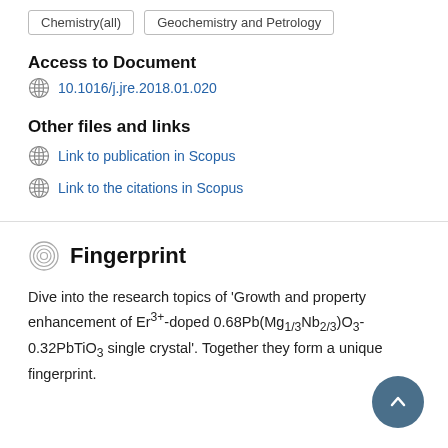Chemistry(all)
Geochemistry and Petrology
Access to Document
10.1016/j.jre.2018.01.020
Other files and links
Link to publication in Scopus
Link to the citations in Scopus
Fingerprint
Dive into the research topics of 'Growth and property enhancement of Er3+-doped 0.68Pb(Mg1/3Nb2/3)O3-0.32PbTiO3 single crystal'. Together they form a unique fingerprint.